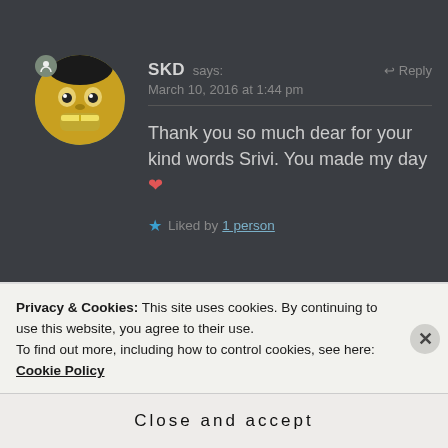SKD says: March 10, 2016 at 1:44 pm
Thank you so much dear for your kind words Srivi. You made my day ❤️
★ Liked by 1 person
ANTONIA says:
Privacy & Cookies: This site uses cookies. By continuing to use this website, you agree to their use.
To find out more, including how to control cookies, see here: Cookie Policy
Close and accept